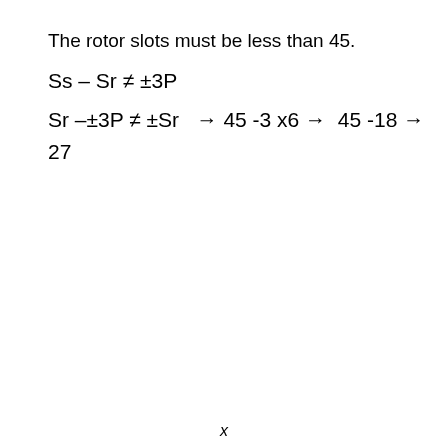The rotor slots must be less than 45.
x